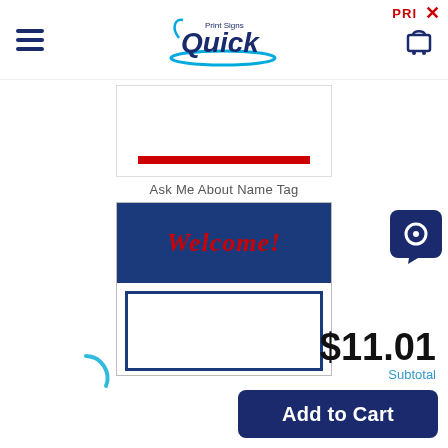PRI  X
[Figure (logo): Print Signs Quick logo with swoosh design, blue and cyan text]
[Figure (photo): Name tag product image - white rectangle with red horizontal bar at bottom]
Ask Me About Name Tag
[Figure (photo): Welcome name tag - dark blue background with red cursive 'Welcome!' text and white rectangle area below]
[Figure (other): Dark blue chat bubble icon with speech bubble symbol]
$11.01
Subtotal
[Figure (other): Loading spinner - cyan partial circle arc]